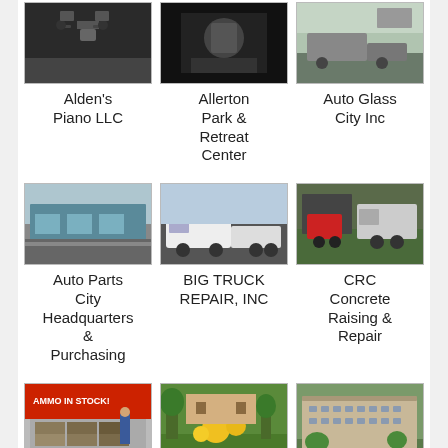[Figure (photo): Photo of Alden's Piano LLC business]
Alden's Piano LLC
[Figure (photo): Photo of Allerton Park & Retreat Center]
Allerton Park & Retreat Center
[Figure (photo): Photo of Auto Glass City Inc]
Auto Glass City Inc
[Figure (photo): Photo of Auto Parts City Headquarters & Purchasing]
Auto Parts City Headquarters & Purchasing
[Figure (photo): Photo of BIG TRUCK REPAIR, INC]
BIG TRUCK REPAIR, INC
[Figure (photo): Photo of CRC Concrete Raising & Repair]
CRC Concrete Raising & Repair
[Figure (photo): Photo of Caliber Tactical Gun Range with AMMO IN STOCK sign]
Caliber Tactical Gun Range
[Figure (photo): Photo of Cantigny Park]
Cantigny Park
[Figure (photo): Photo of Canyons Village at Park City]
Canyons Village at Park City